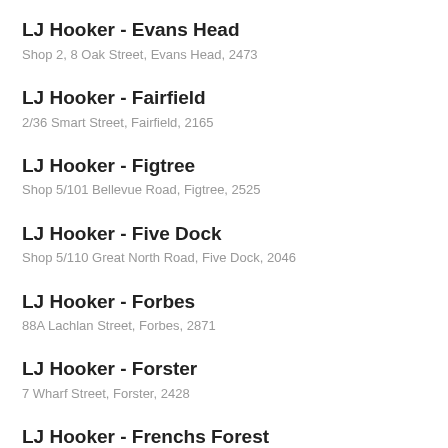LJ Hooker - Evans Head
Shop 2, 8 Oak Street, Evans Head, 2473
LJ Hooker - Fairfield
2/36 Smart Street, Fairfield, 2165
LJ Hooker - Figtree
Shop 5/101 Bellevue Road, Figtree, 2525
LJ Hooker - Five Dock
Shop 5/110 Great North Road, Five Dock, 2046
LJ Hooker - Forbes
88A Lachlan Street, Forbes, 2871
LJ Hooker - Forster
7 Wharf Street, Forster, 2428
LJ Hooker - Frenchs Forest